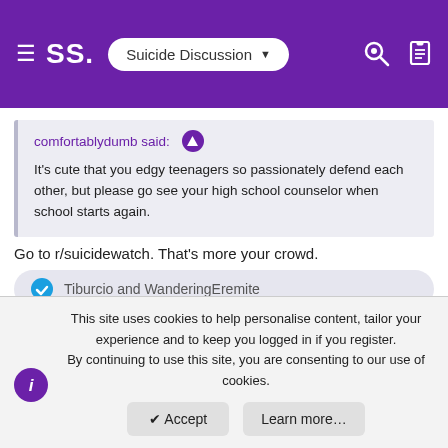SS. Suicide Discussion
comfortablydumb said:
It's cute that you edgy teenagers so passionately defend each other, but please go see your high school counselor when school starts again.
Go to r/suicidewatch. That's more your crowd.
Tiburcio and WanderingEremite
Jon86
Specialist
This site uses cookies to help personalise content, tailor your experience and to keep you logged in if you register. By continuing to use this site, you are consenting to our use of cookies.
Accept
Learn more…